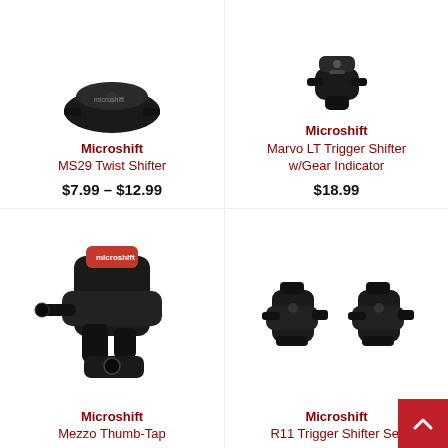[Figure (photo): Microshift MS29 Twist Shifter product photo (partial, top cropped)]
Microshift MS29 Twist Shifter
$7.99 – $12.99
[Figure (photo): Microshift Marvo LT Trigger Shifter w/Gear Indicator product photo (partial, top cropped)]
Microshift Marvo LT Trigger Shifter w/Gear Indicator
$18.99
[Figure (photo): Microshift Mezzo Thumb-Tap shifter product photo]
Microshift Mezzo Thumb-Tap
[Figure (photo): Microshift R11 Trigger Shifter Set product photo]
Microshift R11 Trigger Shifter Set